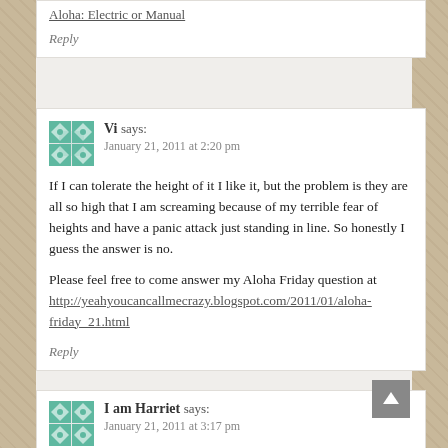Aloha: Electric or Manual
Reply
Vi says:
January 21, 2011 at 2:20 pm
If I can tolerate the height of it I like it, but the problem is they are all so high that I am screaming because of my terrible fear of heights and have a panic attack just standing in line. So honestly I guess the answer is no.

Please feel free to come answer my Aloha Friday question at http://yeahyoucancallmecrazy.blogspot.com/2011/01/aloha-friday_21.html
Reply
I am Harriet says:
January 21, 2011 at 3:17 pm